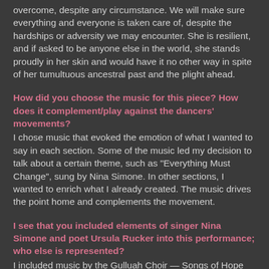overcome, despite any circumstance. We will make sure everything and everyone is taken care of, despite the hardships or adversity we may encounter. She is resilient, and if asked to be anyone else in the world, she stands proudly in her skin and would have it no other way in spite of her tumultuous ancestral past and the plight ahead.
How did you choose the music for this piece? How does it complement/play against the dancers' movements?
I chose music that evoked the emotion of what I wanted to say in each section. Some of the music led my decision to talk about a certain theme, such as "Everything Must Change", sung by Nina Simone. In other sections, I wanted to enrich what I already created. The music drives the point home and complements the movement.
I see that you included elements of singer Nina Simone and poet Ursula Rucker into this performance; who else is represented?
I included music by the Gulluah Choir — Songs of Hope and Freedom — which was the group of people (Gullah and Geechee People) Cortor researched and studied when